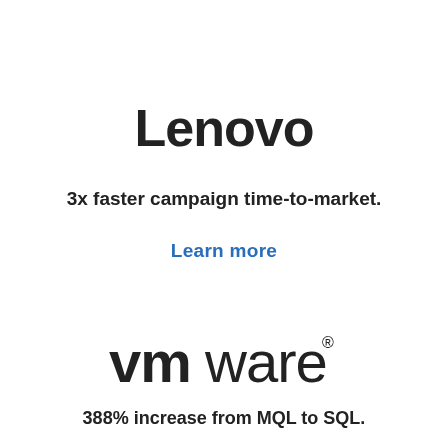[Figure (logo): Lenovo logo in bold dark text]
3x faster campaign time-to-market.
Learn more
[Figure (logo): VMware logo in bold dark text with registered trademark symbol]
388% increase from MQL to SQL.